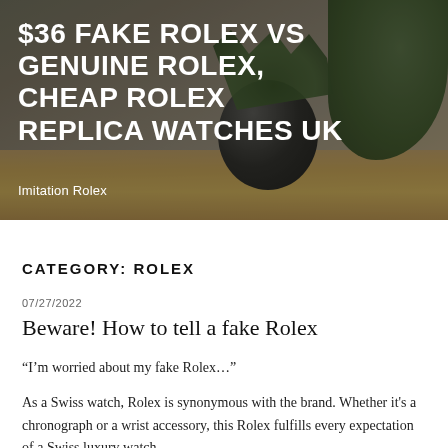[Figure (photo): Hero banner image showing a dark spherical vase with a succulent plant on a wooden table surface, with a blurred room background. Bold white uppercase title text overlaid.]
$36 FAKE ROLEX VS GENUINE ROLEX, CHEAP ROLEX REPLICA WATCHES UK
Imitation Rolex
CATEGORY: ROLEX
07/27/2022
Beware! How to tell a fake Rolex
“I’m worried about my fake Rolex…”
As a Swiss watch, Rolex is synonymous with the brand. Whether it's a chronograph or a wrist accessory, this Rolex fulfills every expectation of a Swiss luxury watch.